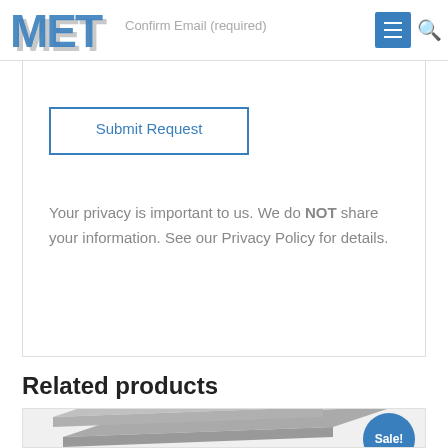MET [logo] | Confirm Email (required) | hamburger menu | search
Confirm Email (required)
Submit Request
Your privacy is important to us. We do NOT share your information. See our Privacy Policy for details.
Related products
[Figure (photo): Product photo of flat rectangular grey metal/material pieces stacked, with a blue Sale! badge circle in the upper right corner]